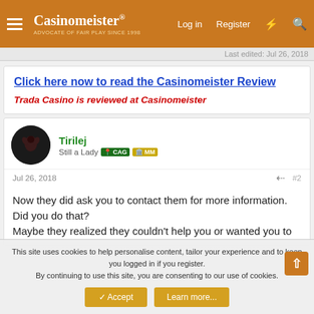Casinomeister® | Log in | Register
Last edited: Jul 26, 2018
Click here now to read the Casinomeister Review
Trada Casino is reviewed at Casinomeister
Tirilej
Still a Lady  CAG  MM
Jul 26, 2018  #2
Now they did ask you to contact them for more information. Did you do that?
Maybe they realized they couldn't help you or wanted you to
This site uses cookies to help personalise content, tailor your experience and to keep you logged in if you register.
By continuing to use this site, you are consenting to our use of cookies.
✓ Accept   Learn more...